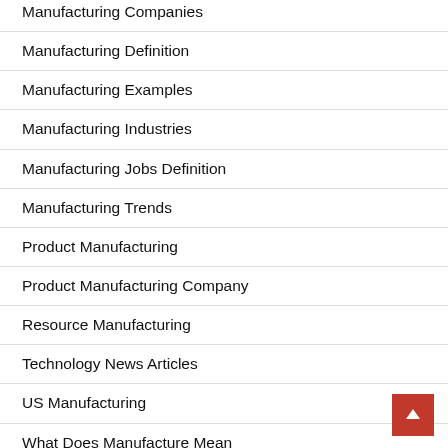Manufacturing Companies
Manufacturing Definition
Manufacturing Examples
Manufacturing Industries
Manufacturing Jobs Definition
Manufacturing Trends
Product Manufacturing
Product Manufacturing Company
Resource Manufacturing
Technology News Articles
US Manufacturing
What Does Manufacture Mean
What Is Manufacturing
What Is Manufacturing